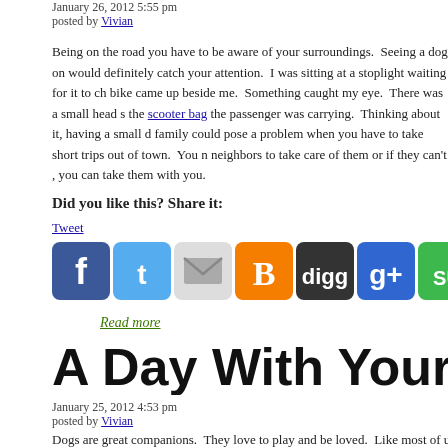January 26, 2012 5:55 pm
posted by Vivian
Being on the road you have to be aware of your surroundings.  Seeing a dog on would definitely catch your attention.  I was sitting at a stoplight waiting for it to ch bike came up beside me.  Something caught my eye.  There was a small head s the scooter bag the passenger was carrying.  Thinking about it, having a small d family could pose a problem when you have to take short trips out of town.  You d neighbors to take care of them or if they can't , you can take them with you.
Did you like this? Share it:
Tweet
[Figure (infographic): Row of social media sharing icons: Facebook, Twitter, Email, Blogger, Digg, Google, StumbleUpon, Reddit, green chat bubble, RSS feed]
Read more
A Day With Your Friend
January 25, 2012 4:53 pm
posted by Vivian
Dogs are great companions.  They love to play and be loved.  Like most of us the